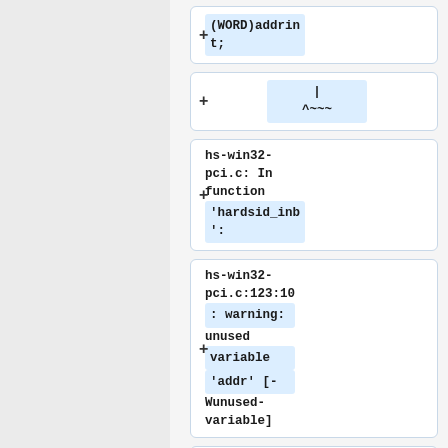(WORD)addrint;
|
^~~~
hs-win32-pci.c: In function 'hardsid_inb':
hs-win32-pci.c:123:10: warning: unused variable 'addr' [-Wunused-variable]
123 | WORD addr =